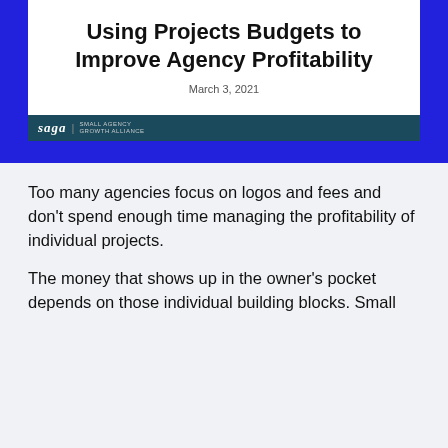Using Projects Budgets to Improve Agency Profitability
March 3, 2021
Too many agencies focus on logos and fees and don't spend enough time managing the profitability of individual projects.
The money that shows up in the owner's pocket depends on those individual building blocks. Small